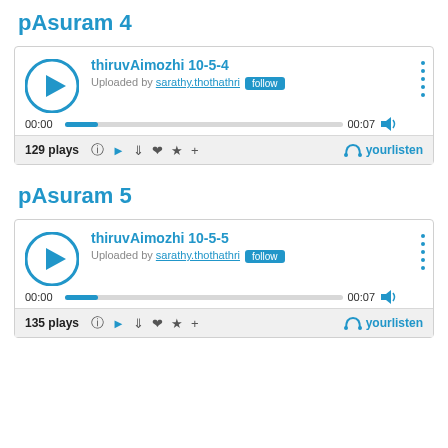pAsuram 4
[Figure (screenshot): Audio player widget for thiruvAimozhi 10-5-4, uploaded by sarathy.thothathri, 129 plays, 00:00 to 00:07 duration, yourlisten player]
pAsuram 5
[Figure (screenshot): Audio player widget for thiruvAimozhi 10-5-5, uploaded by sarathy.thothathri, 135 plays, 00:00 to 00:07 duration, yourlisten player]